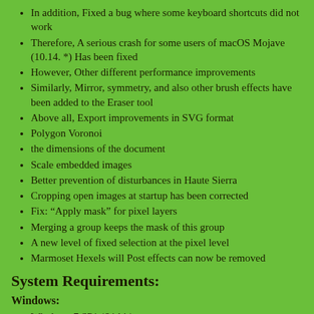In addition, Fixed a bug where some keyboard shortcuts did not work
Therefore, A serious crash for some users of macOS Mojave (10.14. *) Has been fixed
However, Other different performance improvements
Similarly, Mirror, symmetry, and also other brush effects have been added to the Eraser tool
Above all, Export improvements in SVG format
Polygon Voronoi
the dimensions of the document
Scale embedded images
Better prevention of disturbances in Haute Sierra
Cropping open images at startup has been corrected
Fix: “Apply mask” for pixel layers
Merging a group keeps the mask of this group
A new level of fixed selection at the pixel level
Marmoset Hexels will Post effects can now be removed
System Requirements:
Windows:
Windows 7 SP1 (64-bit) or newer
Direct3D 11 GPU (GeForce 470, Radeon HD 5800, Intel Iris)